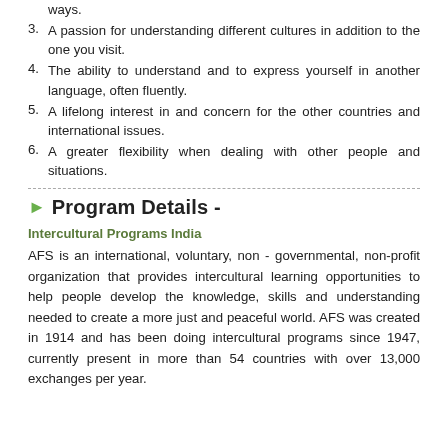ways.
3. A passion for understanding different cultures in addition to the one you visit.
4. The ability to understand and to express yourself in another language, often fluently.
5. A lifelong interest in and concern for the other countries and international issues.
6. A greater flexibility when dealing with other people and situations.
Program Details -
Intercultural Programs India
AFS is an international, voluntary, non - governmental, non-profit organization that provides intercultural learning opportunities to help people develop the knowledge, skills and understanding needed to create a more just and peaceful world. AFS was created in 1914 and has been doing intercultural programs since 1947, currently present in more than 54 countries with over 13,000 exchanges per year.